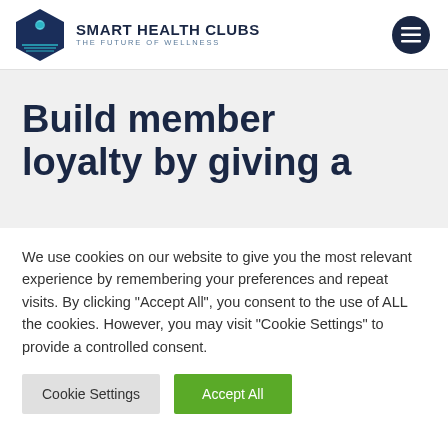[Figure (logo): Smart Health Clubs logo with hexagon emblem and hamburger menu button]
Build member loyalty by giving a
We use cookies on our website to give you the most relevant experience by remembering your preferences and repeat visits. By clicking “Accept All”, you consent to the use of ALL the cookies. However, you may visit "Cookie Settings" to provide a controlled consent.